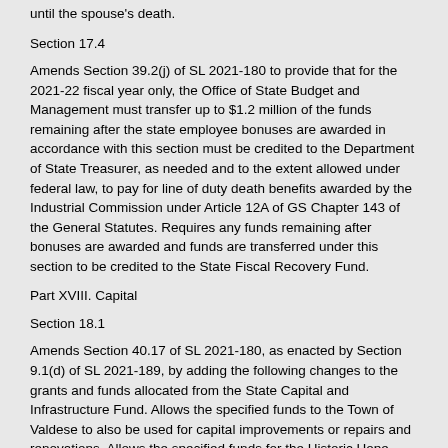until the spouse's death.
Section 17.4
Amends Section 39.2(j) of SL 2021-180 to provide that for the 2021-22 fiscal year only, the Office of State Budget and Management must transfer up to $1.2 million of the funds remaining after the state employee bonuses are awarded in accordance with this section must be credited to the Department of State Treasurer, as needed and to the extent allowed under federal law, to pay for line of duty death benefits awarded by the Industrial Commission under Article 12A of GS Chapter 143 of the General Statutes. Requires any funds remaining after bonuses are awarded and funds are transferred under this section to be credited to the State Fiscal Recovery Fund.
Part XVIII. Capital
Section 18.1
Amends Section 40.17 of SL 2021-180, as enacted by Section 9.1(d) of SL 2021-189, by adding the following changes to the grants and funds allocated from the State Capital and Infrastructure Fund. Allows the specified funds to the Town of Valdese to also be used for capital improvements or repairs and renovations. Allows the specified funds for the Historic Hope David Stone House  for 2021-22 to also be used for the repair and renovation of the historic buildings on its property in Bertie County. Requires the specified funds to the Town of Spindale for 2021-22